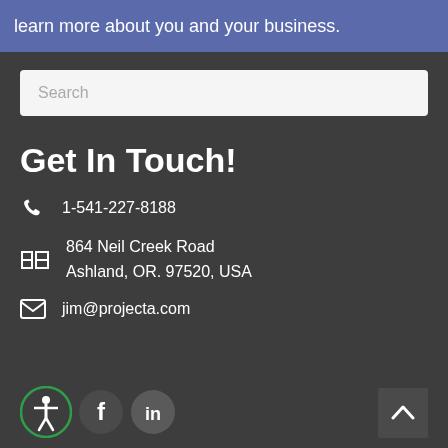learn more about you and your business.
Search
Get In Touch!
1-541-227-8188
864 Neil Creek Road
Ashland, OR. 97520, USA
jim@projecta.com
[Figure (logo): Accessibility icon (green circle with person), Facebook icon (dark circle with F), LinkedIn icon (white circle with in)]
[Figure (other): Scroll to top button with upward chevron]